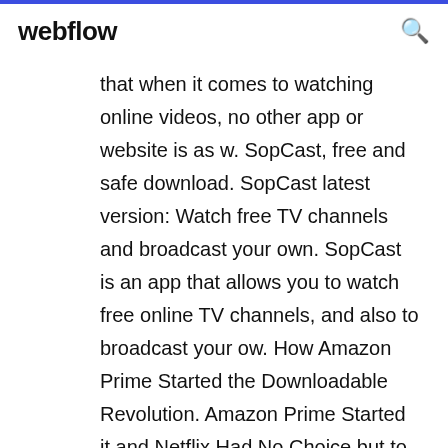webflow
that when it comes to watching online videos, no other app or website is as w. SopCast, free and safe download. SopCast latest version: Watch free TV channels and broadcast your own. SopCast is an app that allows you to watch free online TV channels, and also to broadcast your ow. How Amazon Prime Started the Downloadable Revolution. Amazon Prime Started it and Netflix Had No Choice but to Get on Board HR things which we can talk about by the end of the month. add-on signing phase 1 is done. Major change to [jugband http://jugband.paas.allizom.org/] adds Roadmap tab. Tried to make a different